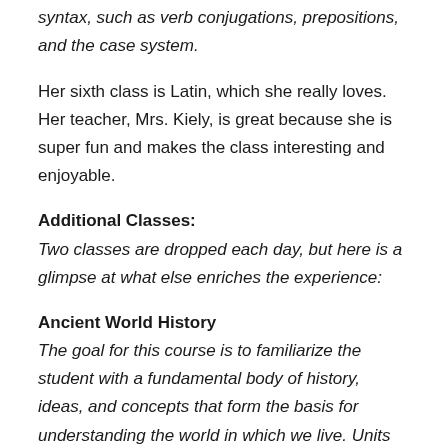syntax, such as verb conjugations, prepositions, and the case system.
Her sixth class is Latin, which she really loves. Her teacher, Mrs. Kiely, is great because she is super fun and makes the class interesting and enjoyable.
Additional Classes:
Two classes are dropped each day, but here is a glimpse at what else enriches the experience:
Ancient World History
The goal for this course is to familiarize the student with a fundamental body of history, ideas, and concepts that form the basis for understanding the world in which we live. Units include  River Valley Civilizations,